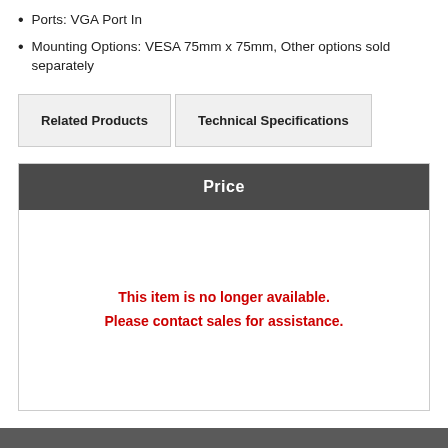Ports: VGA Port In
Mounting Options: VESA 75mm x 75mm, Other options sold separately
| Related Products | Technical Specifications |
| --- | --- |
Price
This item is no longer available. Please contact sales for assistance.